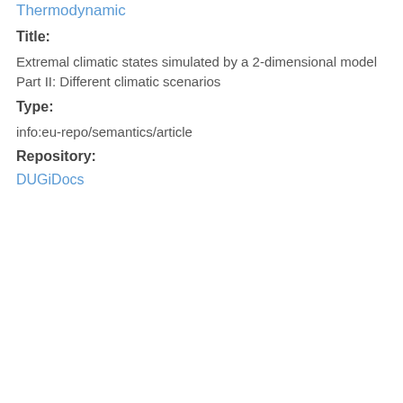Thermodynamic
Title:
Extremal climatic states simulated by a 2-dimensional model Part II: Different climatic scenarios
Type:
info:eu-repo/semantics/article
Repository:
DUGiDocs